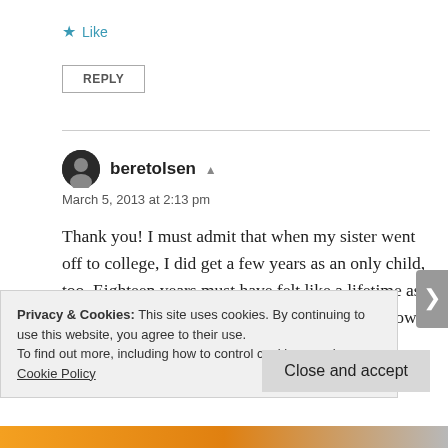★ Like
REPLY
beretolsen
March 5, 2013 at 2:13 pm
Thank you! I must admit that when my sister went off to college, I did get a few years as an only child, too. Eighteen years must have felt like a lifetime as a child. I wonder, is it easier to bridge the gap now
Privacy & Cookies: This site uses cookies. By continuing to use this website, you agree to their use.
To find out more, including how to control cookies, see here: Cookie Policy
Close and accept